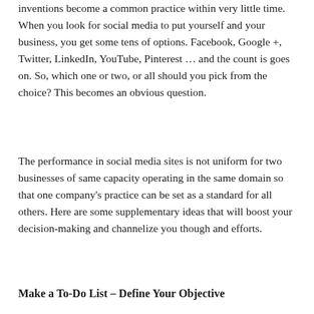inventions become a common practice within very little time. When you look for social media to put yourself and your business, you get some tens of options. Facebook, Google +, Twitter, LinkedIn, YouTube, Pinterest … and the count is goes on. So, which one or two, or all should you pick from the choice? This becomes an obvious question.
The performance in social media sites is not uniform for two businesses of same capacity operating in the same domain so that one company's practice can be set as a standard for all others. Here are some supplementary ideas that will boost your decision-making and channelize you though and efforts.
Make a To-Do List – Define Your Objective